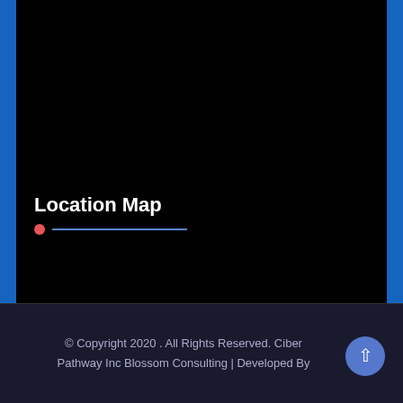[Figure (map): Black map area with blue borders on left and right sides. Shows a Location Map section with a red dot marker and blue underline decoration.]
Location Map
© Copyright 2020 . All Rights Reserved. Ciber Pathway Inc Blossom Consulting | Developed By